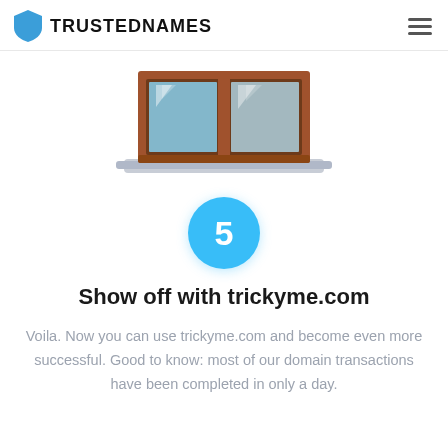TRUSTEDNAMES
[Figure (illustration): Illustration of a storefront/shop window with brown frame, two glass panes showing light reflections, and a grey base/sill at the bottom]
[Figure (infographic): Blue circle with white number 5 inside, representing step 5]
Show off with trickyme.com
Voila. Now you can use trickyme.com and become even more successful. Good to know: most of our domain transactions have been completed in only a day.